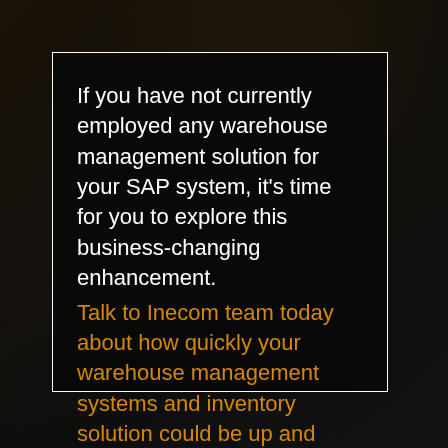[Figure (photo): Dark warehouse background image with shelving and inventory, overlaid with a dark semi-transparent card containing text]
If you have not currently employed any warehouse management solution for your SAP system, it's time for you to explore this business-changing enhancement. Talk to Inecom team today about how quickly your warehouse management systems and inventory solution could be up and running.